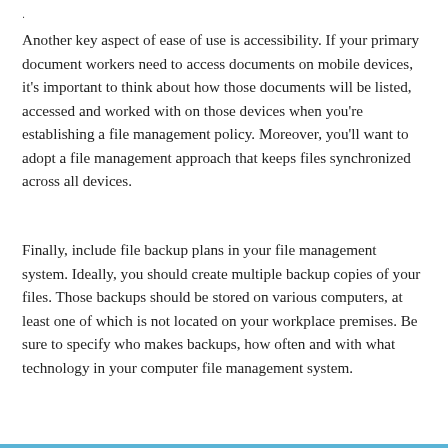Another key aspect of ease of use is accessibility. If your primary document workers need to access documents on mobile devices, it's important to think about how those documents will be listed, accessed and worked with on those devices when you're establishing a file management policy. Moreover, you'll want to adopt a file management approach that keeps files synchronized across all devices.
Finally, include file backup plans in your file management system. Ideally, you should create multiple backup copies of your files. Those backups should be stored on various computers, at least one of which is not located on your workplace premises. Be sure to specify who makes backups, how often and with what technology in your computer file management system.